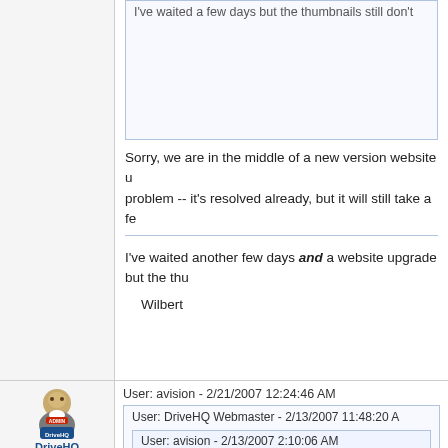I've waited a few days but the thumbnails still don't...
Sorry, we are in the middle of a new version website u... problem -- it's resolved already, but it will still take a fe...
I've waited another few days and a website upgrade but the thu...
Wilbert
User: avision  -  2/21/2007 12:24:46 AM
User: DriveHQ Webmaster  -  2/13/2007 11:48:20 A...
User: avision  -  2/13/2007 2:10:06 AM
User: DriveHQ Webmaster  -  2/7/2007 10:...